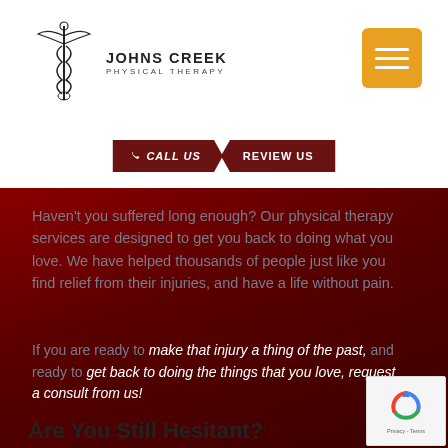[Figure (logo): Johns Creek Physical Therapy logo with caduceus symbol]
[Figure (other): Orange hamburger menu button]
[Figure (other): CALL US and REVIEW US navigation buttons on dark red background]
Haven't you suffered long enough? Our physical therapy services are designed to get you back to doing what you love. We have helped thousands of people just like you find relief from their injuries, and have a life without pain.
If you are ready to make that injury a thing of the past, and ready to get back to doing the things that you love, request a consult from us!
Are You Still Hesitant?
[Figure (other): Google reCAPTCHA badge showing Privacy - Terms]